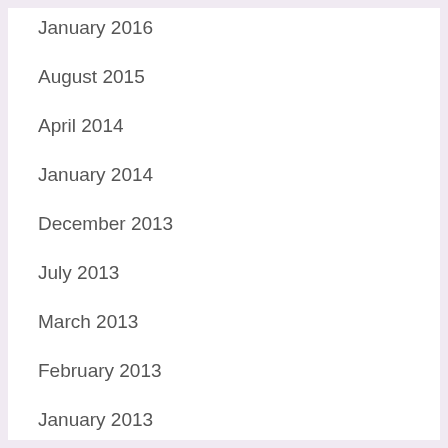January 2016
August 2015
April 2014
January 2014
December 2013
July 2013
March 2013
February 2013
January 2013
August 2012
May 2012